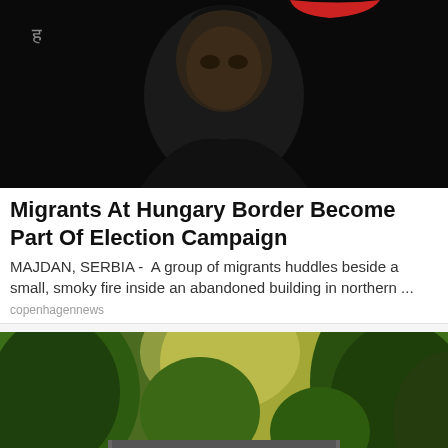[Figure (photo): Dark portrait photo of a person's face against a black background, wearing a dark hoodie]
Migrants At Hungary Border Become Part Of Election Campaign
MAJDAN, SERBIA -  A group of migrants huddles beside a small, smoky fire inside an abandoned building in northern ...
copenhagennews
[Figure (photo): Outdoor photo of a garden shed or storage unit surrounded by lush green trees and foliage, with yellow-green leaves visible in the background]